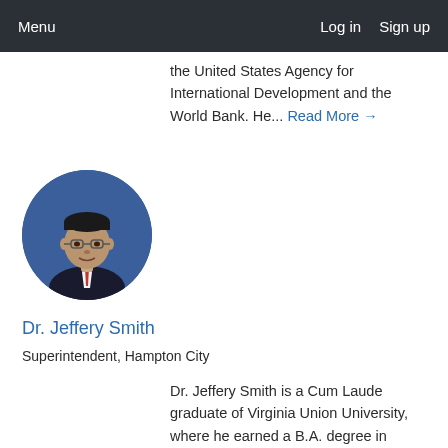Menu   Log in   Sign up
the United States Agency for International Development and the World Bank. He... Read More →
[Figure (photo): Circular profile photo of Dr. Jeffery Smith, a man wearing glasses and a suit with a red tie, against a blue background]
Dr. Jeffery Smith
Superintendent, Hampton City
Dr. Jeffery Smith is a Cum Laude graduate of Virginia Union University, where he earned a B.A. degree in English Education, and Virginia Commonwealth University, where...